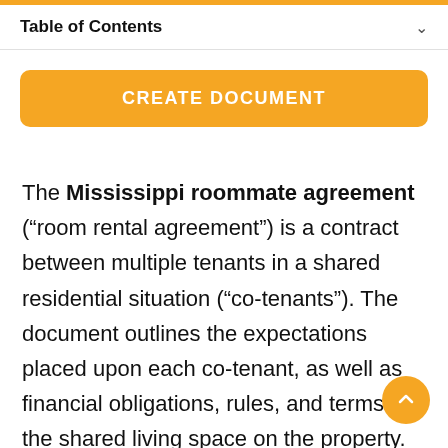Table of Contents
CREATE DOCUMENT
The Mississippi roommate agreement (“room rental agreement”) is a contract between multiple tenants in a shared residential situation (“co-tenants”). The document outlines the expectations placed upon each co-tenant, as well as financial obligations, rules, and terms for the shared living space on the property.